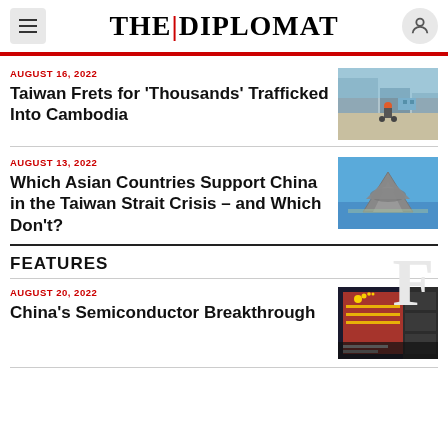THE DIPLOMAT
AUGUST 16, 2022
Taiwan Frets for ‘Thousands’ Trafficked Into Cambodia
[Figure (photo): Street scene in Cambodia with buildings and a person on a motorcycle]
AUGUST 13, 2022
Which Asian Countries Support China in the Taiwan Strait Crisis – and Which Don’t?
[Figure (photo): Military jet aircraft flying against a blue sky]
FEATURES
AUGUST 20, 2022
China’s Semiconductor Breakthrough
[Figure (photo): Chinese flag billboard at night with city lights]